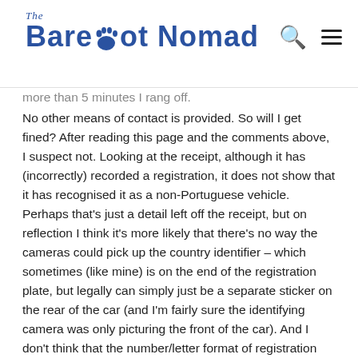The Barefoot Nomad
more than 5 minutes I rang off.
No other means of contact is provided. So will I get fined? After reading this page and the comments above, I suspect not. Looking at the receipt, although it has (incorrectly) recorded a registration, it does not show that it has recognised it as a non-Portuguese vehicle. Perhaps that's just a detail left off the receipt, but on reflection I think it's more likely that there's no way the cameras could pick up the country identifier – which sometimes (like mine) is on the end of the registration plate, but legally can simply just be a separate sticker on the rear of the car (and I'm fairly sure the identifying camera was only picturing the front of the car). And I don't think that the number/letter format of registration plates is sufficiently unique between countries to work out the nationality from that (and I also don't think there's any mechanism to ensure that the same registration doesn't get issued in more than one country, so automatically checking the car and the registration against EVERY